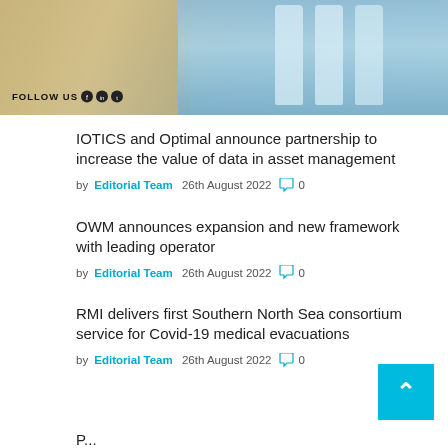[Figure (photo): Scotland Reel Gin advertisement banner with map background, gin bottles, and 'FOLLOW US' with social media icons]
IOTICS and Optimal announce partnership to increase the value of data in asset management
by Editorial Team  26th August 2022  💬 0
OWM announces expansion and new framework with leading operator
by Editorial Team  26th August 2022  💬 0
RMI delivers first Southern North Sea consortium service for Covid-19 medical evacuations
by Editorial Team  26th August 2022  💬 0
P...